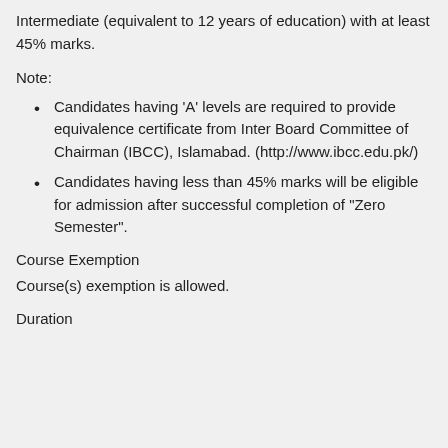Intermediate (equivalent to 12 years of education) with at least 45% marks.
Note:
Candidates having 'A' levels are required to provide equivalence certificate from Inter Board Committee of Chairman (IBCC), Islamabad. (http://www.ibcc.edu.pk/)
Candidates having less than 45% marks will be eligible for admission after successful completion of "Zero Semester".
Course Exemption
Course(s) exemption is allowed.
Duration